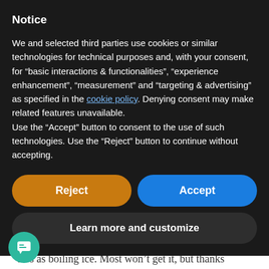Notice
We and selected third parties use cookies or similar technologies for technical purposes and, with your consent, for “basic interactions & functionalities”, “experience enhancement”, “measurement” and “targeting & advertising” as specified in the cookie policy. Denying consent may make related features unavailable.
Use the “Accept” button to consent to the use of such technologies. Use the “Reject” button to continue without accepting.
[Figure (screenshot): Two buttons side by side: orange 'Reject' button on the left and blue 'Accept' button on the right]
[Figure (screenshot): Dark rounded button labeled 'Learn more and customize']
political in which they are bogged down and is
14
...less as boiling ice. Most won’t get it, but thanks
...rying to snatch some from the fire and cause
them to look to the ONLY One who is the Solution.